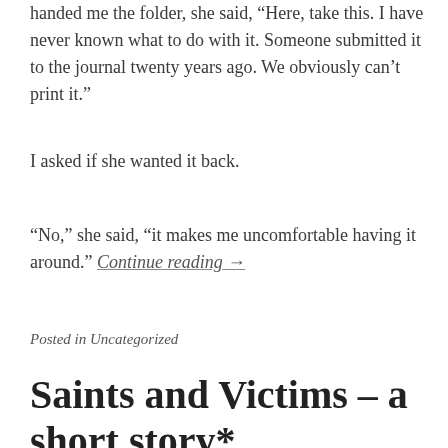handed me the folder, she said, “Here, take this. I have never known what to do with it. Someone submitted it to the journal twenty years ago. We obviously can’t print it.”
I asked if she wanted it back.
“No,” she said, “it makes me uncomfortable having it around.” Continue reading →
Posted in Uncategorized
Saints and Victims – a short story*
October 1, 2016